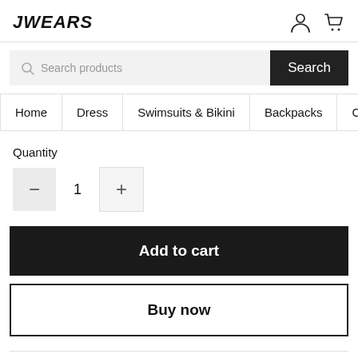JWEARS
Search products
Home   Dress   Swimsuits & Bikini   Backpacks   Clothing
Quantity
1
Add to cart
Buy now
Description